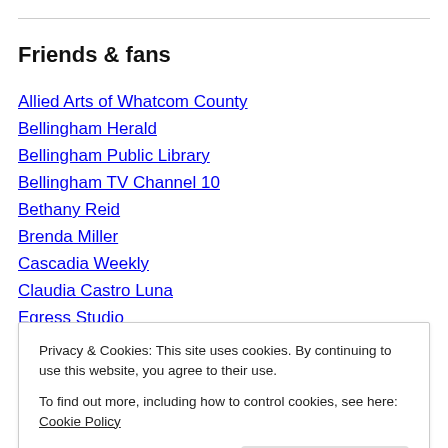Friends & fans
Allied Arts of Whatcom County
Bellingham Herald
Bellingham Public Library
Bellingham TV Channel 10
Bethany Reid
Brenda Miller
Cascadia Weekly
Claudia Castro Luna
Egress Studio
Elizabeth Austen
Privacy & Cookies: This site uses cookies. By continuing to use this website, you agree to their use.
To find out more, including how to control cookies, see here: Cookie Policy